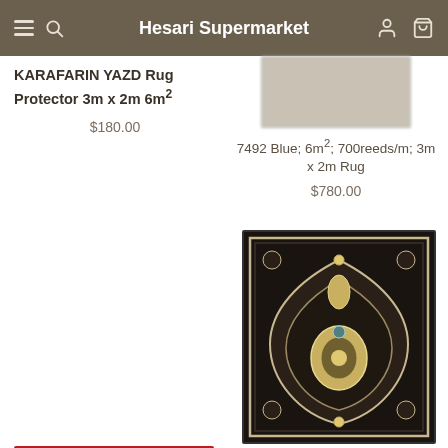Hesari Supermarket
KARAFARIN YAZD Rug Protector 3m x 2m 6m²
$180.00
[Figure (photo): Blurred product image of a rug, partially visible]
7492 Blue; 6m²; 700reeds/m; 3m x 2m Rug
$780.00
[Figure (photo): Red Persian rug with medallion pattern, SOLD OUT badge]
[Figure (photo): Dark/black Persian rug with medallion pattern]